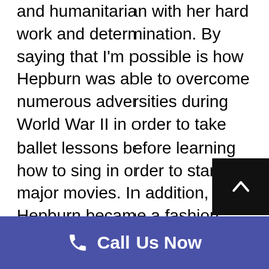and humanitarian with her hard work and determination. By saying that I'm possible is how Hepburn was able to overcome numerous adversities during World War II in order to take ballet lessons before learning how to sing in order to star in major movies. In addition, Hepburn became a fashion icon who also had a lovely smile. If you also want to believe that anything is possible, then it is important to visit an orthodontist to have your teeth examined. Having poorly aligned teeth can lead to several health problems along with having an unattractive smile.
[Figure (other): Black scroll-to-top button with white upward chevron arrow]
Call Us Now